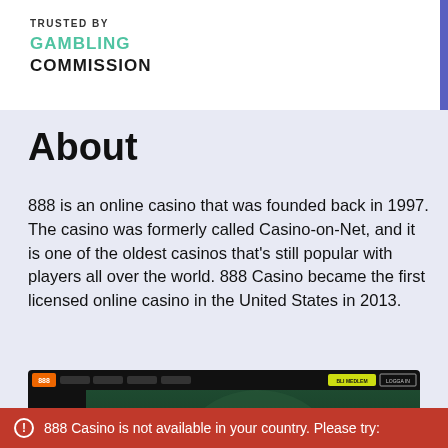TRUSTED BY
GAMBLING COMMISSION
About
888 is an online casino that was founded back in 1997. The casino was formerly called Casino-on-Net, and it is one of the oldest casinos that's still popular with players all over the world. 888 Casino became the first licensed online casino in the United States in 2013.
[Figure (screenshot): Screenshot of 888 Casino website showing promotional banner: SATT IN 100 kr ELLER MER FA YTTERLIGARE 100 kr I BONUS with a yellow SATT IN button, casino game characters on the right side]
888 Casino is not available in your country. Please try: